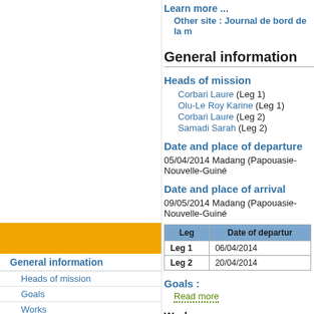Learn more ...
Other site : Journal de bord de la m
General information
Heads of mission
Corbari Laure (Leg 1)
Olu-Le Roy Karine (Leg 1)
Corbari Laure (Leg 2)
Samadi Sarah (Leg 2)
Date and place of departure
05/04/2014 Madang (Papouasie-Nouvelle-Guiné
Date and place of arrival
09/05/2014 Madang (Papouasie-Nouvelle-Guiné
| Leg | Date of departur |
| --- | --- |
| Leg 1 | 06/04/2014 |
| Leg 2 | 20/04/2014 |
Goals :
Read more
Works :
[Figure (other): Orange navigation sidebar banner]
General information
Heads of mission
Goals
Works
Thanks